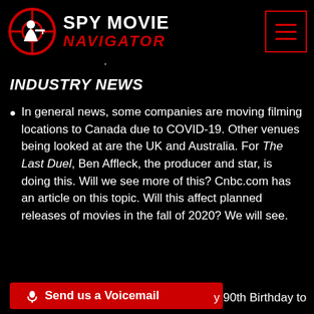SPY MOVIE NAVIGATOR
full report at Radiotimes.com.
INDUSTRY NEWS
In general news, some companies are moving filming locations to Canada due to COVID-19. Other venues being looked at are the UK and Australia. For The Last Duel, Ben Affleck, the producer and star, is doing this. Will we see more of this? Cnbc.com has an article on this topic. Will this affect planned releases of movies in the fall of 2020? We will see.
Send us a Voicemail  ...y 90th Birthday to